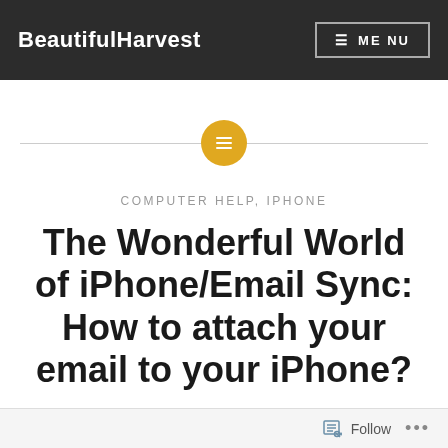BeautifulHarvest   ☰ MENU
[Figure (illustration): Horizontal divider line with a gold/amber circle icon containing a lines/text symbol in the center]
COMPUTER HELP, IPHONE
The Wonderful World of iPhone/Email Sync: How to attach your email to your iPhone?
Follow   •••